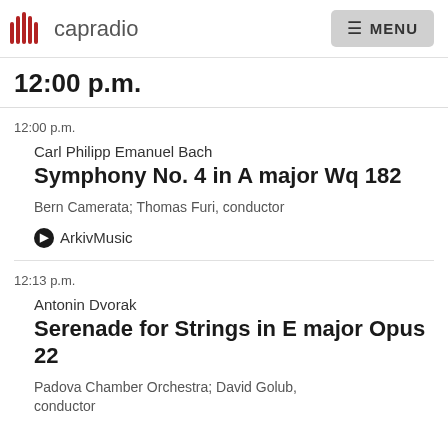capradio  MENU
12:00 p.m.
12:00 p.m.
Carl Philipp Emanuel Bach
Symphony No. 4 in A major Wq 182
Bern Camerata; Thomas Furi, conductor
ArkivMusic
12:13 p.m.
Antonin Dvorak
Serenade for Strings in E major Opus 22
Padova Chamber Orchestra; David Golub, conductor